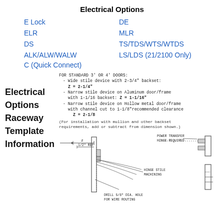Electrical Options
E Lock    DE
ELR    MLR
DS    TS/TDS/WTS/WTDS
ALK/ALW/WALW    LS/LDS (21/2100 Only)
C (Quick Connect)
FOR STANDARD 3' OR 4' DOORS:
  - Wide stile device with 2-3/4" backset: Z = 2-1/4"
  - Narrow stile device on Aluminum door/frame with 1-1/16 backset: Z = 1-1/16"
  - Narrow stile device on Hollow metal door/frame with channel cut to 1-1/8" recommended clearance Z = 2-1/8
Electrical Options Raceway Template Information
(For installation with mullion and other backset requirements, add or subtract from dimension shown.)
[Figure (engineering-diagram): Technical drawing showing raceway template for electrical options. Shows Z dimension, 1/2" REF measurement, hinge stile machining detail, power transfer hinge required callout, and drill 5/8" dia. hole for wire routing instruction. Includes cross-section views of door frame assembly.]